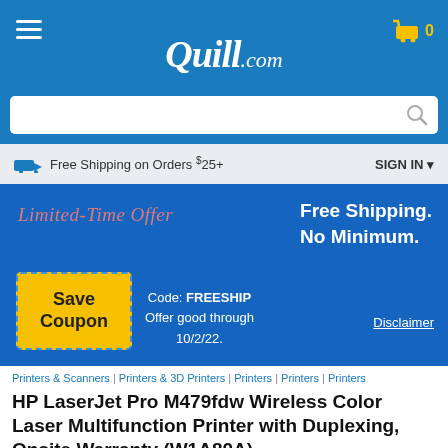Quill.com
Free Shipping on Orders $25+   SIGN IN
[Figure (infographic): Limited-Time Offer promotional banner: Free Shipping. No Minimum. Code: FREESHIP. Offer good through 10/2/22. Save Coupon button. Disclaimer link.]
Printers & Scanners | Printers & 3D Printers | Printers | Printers | Printers
HP LaserJet Pro M479fdw Wireless Color Laser Multifunction Printer with Duplexing, Onsite Warranty (W1A80A)
★★★★☆ (1093 Reviews)
Write a Review
Item # 901-8422EBF7   Model # W1A80A#BGJ